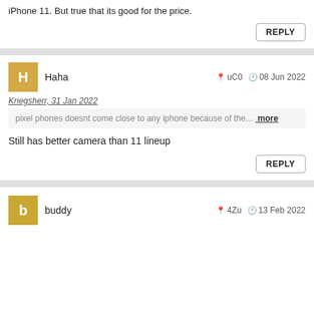iPhone 11. But true that its good for the price.
REPLY
Haha   uC0   08 Jun 2022
Kriegsherr, 31 Jan 2022
pixel phones doesnt come close to any iphone because of the... more
Still has better camera than 11 lineup
REPLY
buddy   4Zu   13 Feb 2022